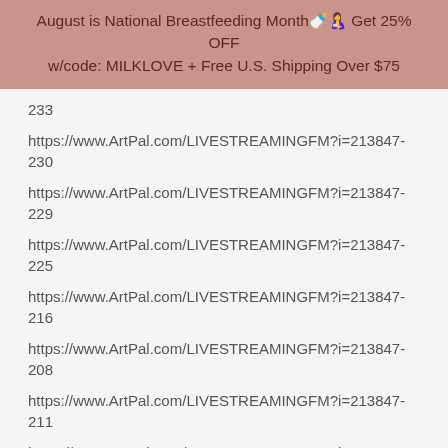August is National Breastfeeding Month🍼🤱 Get 25% OFF w/code: MILKLOVE + Free U.S. Shipping Over $75
233
https://www.ArtPal.com/LIVESTREAMINGFM?i=213847-230
https://www.ArtPal.com/LIVESTREAMINGFM?i=213847-229
https://www.ArtPal.com/LIVESTREAMINGFM?i=213847-225
https://www.ArtPal.com/LIVESTREAMINGFM?i=213847-216
https://www.ArtPal.com/LIVESTREAMINGFM?i=213847-208
https://www.ArtPal.com/LIVESTREAMINGFM?i=213847-211
https://www.ArtPal.com/LIVESTREAMINGFM?i=213847-191